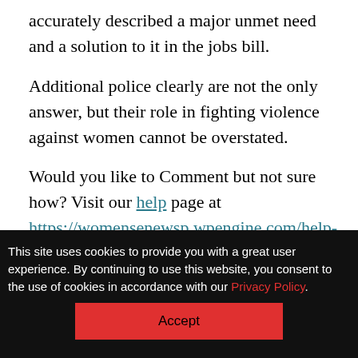accurately described a major unmet need and a solution to it in the jobs bill.
Additional police clearly are not the only answer, but their role in fighting violence against women cannot be overstated.
Would you like to Comment but not sure how? Visit our help page at https://womensenewsp.wpengine.com/help-making-comments-womens-enews-stories.
This site uses cookies to provide you with a great user experience. By continuing to use this website, you consent to the use of cookies in accordance with our Privacy Policy.
Accept